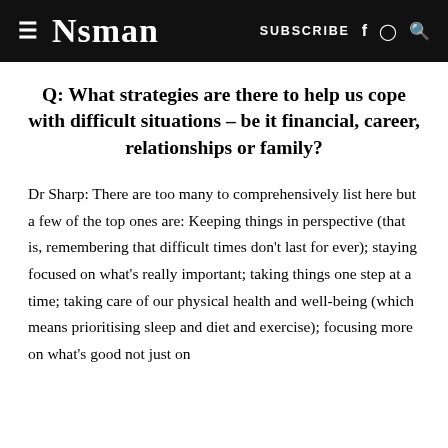≡ NSMAN   SUBSCRIBE f ⊚ Q
Q: What strategies are there to help us cope with difficult situations – be it financial, career, relationships or family?
Dr Sharp: There are too many to comprehensively list here but a few of the top ones are: Keeping things in perspective (that is, remembering that difficult times don't last for ever); staying focused on what's really important; taking things one step at a time; taking care of our physical health and well-being (which means prioritising sleep and diet and exercise); focusing more on what's good not just on